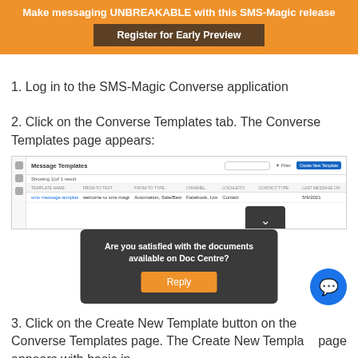Make messaging UNBREAKABLE with this SMS-Magic release
Register for Early Preview
1. Log in to the SMS-Magic Converse application
2. Click on the Converse Templates tab. The Converse Templates page appears:
[Figure (screenshot): Screenshot of the Message Templates page in SMS-Magic Converse application showing a table with template entries including 'sms message template' with details about automation, channels (Facebook, Live, SMS, V...), locale, contact type, and last message on date.]
Are you satisfied with the documents available on Doc Centre?
Reply
3. Click on the Create New Template button on the Converse Templates page. The Create New Template page appears with basic information: